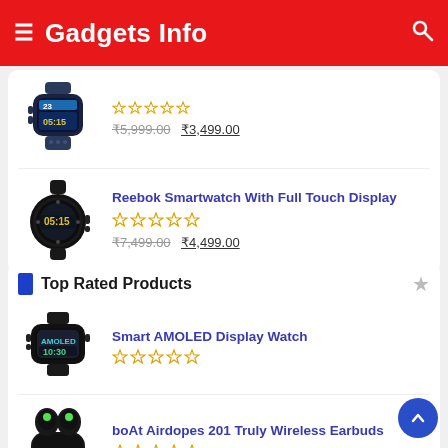Gadgets Info
★★★★★ ₹5,999.00 ₹3,499.00
Reebok Smartwatch With Full Touch Display ★★★★★ ₹7,499.00 ₹4,499.00
Top Rated Products
Smart AMOLED Display Watch ★★★★★
boAt Airdopes 201 Truly Wireless Earbuds ★★★★★
Best wireless headphones with mic in India 2021